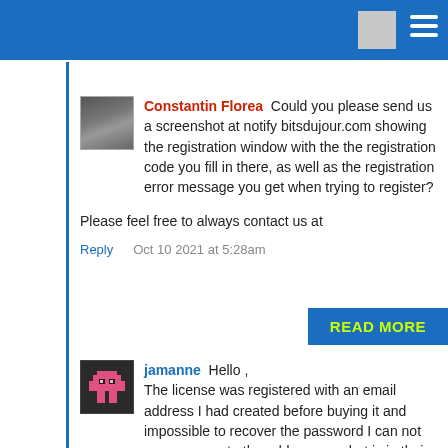[Header bar with navigation icon and menu]
Constantin Florea  Could you please send us a screenshot at notify bitsdujour.com showing the registration window with the the registration code you fill in there, as well as the registration error message you get when trying to register?

Please feel free to always contact us at

Reply    Oct 10 2021 at 5:28am
READ MORE
jamanne  Hello ,
The license was registered with an email address I had created before buying it and impossible to recover the password I can not more access to the address so what is in their database so